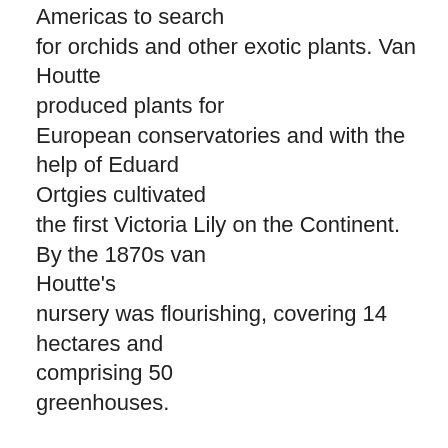Americas to search for orchids and other exotic plants. Van Houtte produced plants for European conservatories and with the help of Eduard Ortgies cultivated the first Victoria Lily on the Continent. By the 1870s van Houtte's nursery was flourishing, covering 14 hectares and comprising 50 greenhouses.

The business was carried on by van Houtte's son, when he died in 1876.